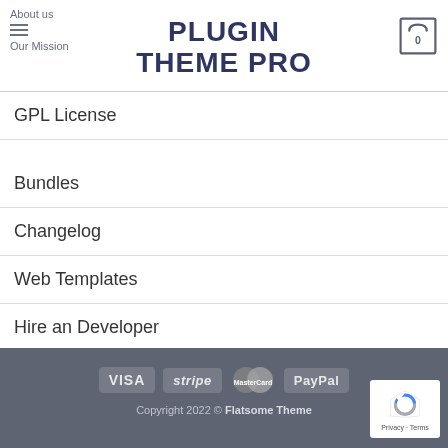About us  [hamburger icon]  Our Mission  |  PLUGIN THEME PRO  |  [cart: 0]
GPL License
Bundles
Changelog
Web Templates
Hire an Developer
Membership Plans
VISA  stripe  MasterCard  PayPal  |  Copyright 2022 © Flatsome Theme